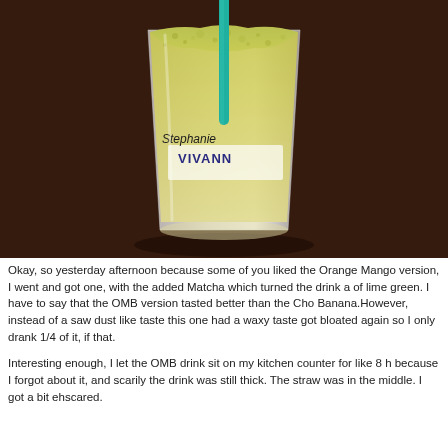[Figure (photo): A Starbucks Vivannno smoothie cup with a teal straw, filled with a yellow-green drink, handwritten name 'Stephanie' on the cup, sitting on a dark wooden surface.]
Okay, so yesterday afternoon because some of you liked the Orange Mango version, I went and got one, with the added Matcha which turned the drink a of lime green. I have to say that the OMB version tasted better than the Cho Banana.However, instead of a saw dust like taste this one had a waxy taste got bloated again so I only drank 1/4 of it, if that.
Interesting enough, I let the OMB drink sit on my kitchen counter for like 8 h because I forgot about it, and scarily the drink was still thick. The straw was in the middle. I got a bit ehscared.